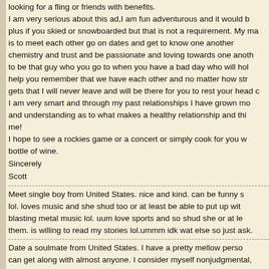looking for a fling or friends with benefits. I am very serious about this ad,I am fun adventurous and it would b plus if you skied or snowboarded but that is not a requirement. My ma is to meet each other go on dates and get to know one another chemistry and trust and be passionate and loving towards one anoth to be that guy who you go to when you have a bad day who will hol help you remember that we have each other and no matter how str gets that I will never leave and will be there for you to rest your head c I am very smart and through my past relationships I have grown mo and understanding as to what makes a healthy relationship and thi me! I hope to see a rockies game or a concert or simply cook for you w bottle of wine.
Sincerely
Scott
Meet single boy from United States. nice and kind. can be funny s lol. loves music and she shud too or at least be able to put up wit blasting metal music lol. uum love sports and so shud she or at le them. is willing to read my stories lol.ummm idk wat else so just ask.
Date a soulmate from United States. I have a pretty mellow perso can get along with almost anyone. I consider myself nonjudgmental, straight forward and honest. I am looking for someone who adventurous and willing try new things, but also can find comfort in ho I grew up in Colorado, and don't see myself living anywhere else. I